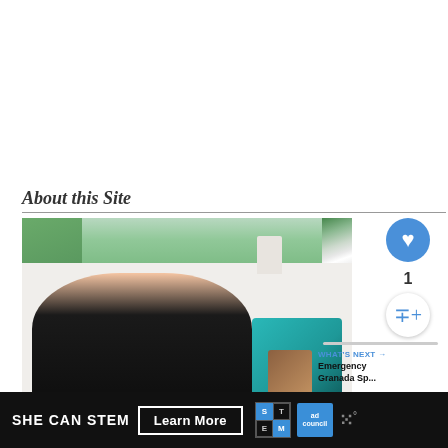About this Site
[Figure (photo): Photo of a woman with short blonde hair wearing a dark floral sweater, sitting in a bright room with teal/turquoise pillows on a sofa, a window with greenery outside, and a decorative object on the windowsill.]
[Figure (infographic): Heart/like button (blue circle with heart icon), like count '1', share button (white circle with share icon), and a 'WHAT'S NEXT' panel showing a thumbnail and text 'Emergency Granada Sp...']
[Figure (infographic): Ad banner: SHE CAN STEM – Learn More button, STEM logo, Ad Council logo, and Mightybell logo on dark background.]